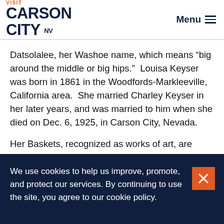VISIT CARSON CITY NV   Menu
Datsolalee, her Washoe name, which means “big around the middle or big hips.”  Louisa Keyser was born in 1861 in the Woodfords-Markleeville, California area.  She married Charley Keyser in her later years, and was married to him when she died on Dec. 6, 1925, in Carson City, Nevada.
Her Baskets, recognized as works of art, are found in museums throughout America, including the Smithsonian Institution, Nevada Historical Society in Reno and the
We use cookies to help us improve, promote, and protect our services. By continuing to use the site, you agree to our cookie policy.